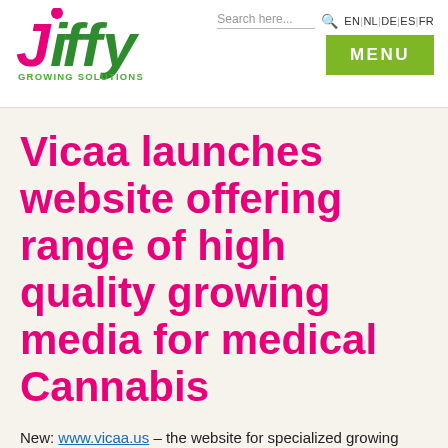Jiffy Growing Solutions | Search here... | EN | NL | DE | ES | FR | MENU
Vicaa launches website offering range of high quality growing media for medical Cannabis
New: www.vicaa.us – the website for specialized growing media for medical cannabis & hemp
Sustainable growing solutions